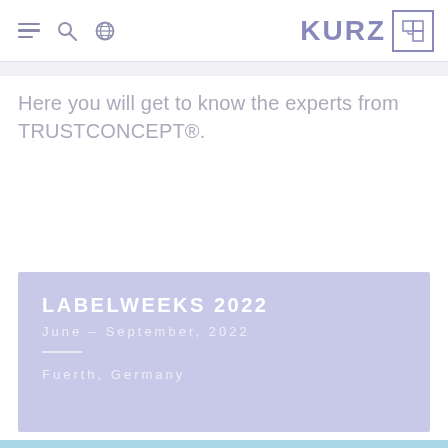KURZ [navigation header with hamburger, search, globe icons and KURZ logo]
Here you will get to know the experts from TRUSTCONCEPT®.
LABELWEEKS 2022
June – September, 2022
Fuerth, Germany